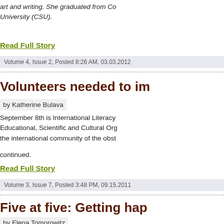art and writing. She graduated from Co... University (CSU).
Read Full Story
Volume 4, Issue 2, Posted 8:26 AM, 03.03.2012
Volunteers needed to im...
by Katherine Bulava
September 8th is International Literacy... Educational, Scientific and Cultural Or... the international community of the obst...
continued.
Read Full Story
Volume 3, Issue 7, Posted 3:48 PM, 09.15.2011
Five at five: Getting hap...
by Elena Tomorowitz